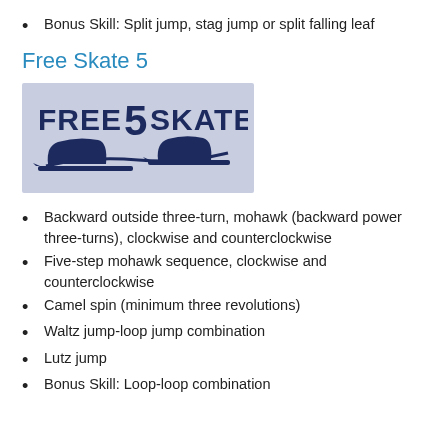Bonus Skill: Split jump, stag jump or split falling leaf
Free Skate 5
[Figure (logo): Free Skate 5 logo with text FREE 5 SKATE and ice skate blade silhouette on a light blue-grey background]
Backward outside three-turn, mohawk (backward power three-turns), clockwise and counterclockwise
Five-step mohawk sequence, clockwise and counterclockwise
Camel spin (minimum three revolutions)
Waltz jump-loop jump combination
Lutz jump
Bonus Skill: Loop-loop combination